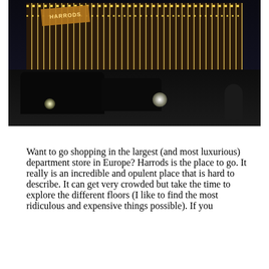[Figure (photo): Night photograph of Harrods department store in London, illuminated with thousands of lights outlining the building facade. The 'Harrods' sign is visible. Street scene in foreground with black London taxis and cars with headlights, pedestrians visible on the right side.]
Want to go shopping in the largest (and most luxurious) department store in Europe? Harrods is the place to go. It really is an incredible and opulent place that is hard to describe. It can get very crowded but take the time to explore the different floors (I like to find the most ridiculous and expensive things possible). If you